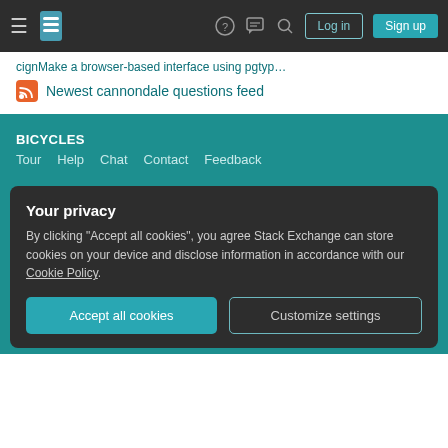Stack Exchange navigation header with Log in and Sign up buttons
Newest cannondale questions feed
BICYCLES
Tour  Help  Chat  Contact  Feedback
COMPANY
Stack Overflow  Teams  Advertising  Collectives  Talent  About  Press  Legal  Privacy Policy  Terms of Service  Cookie Settings  Cookie Policy
STACK EXCHANGE NETWORK
Your privacy
By clicking "Accept all cookies", you agree Stack Exchange can store cookies on your device and disclose information in accordance with our Cookie Policy.
Accept all cookies  Customize settings